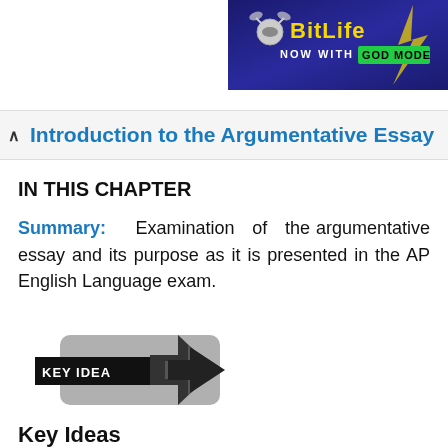[Figure (screenshot): BitLife game advertisement banner with logo and 'NOW WITH GOD MODE' text on dark blue background]
Introduction to the Argumentative Essay
IN THIS CHAPTER
Summary: Examination of the argumentative essay and its purpose as it is presented in the AP English Language exam.
[Figure (illustration): Key Idea graphic with arrow pointing right on grey badge with black label reading KEY IDEA]
Key Ideas